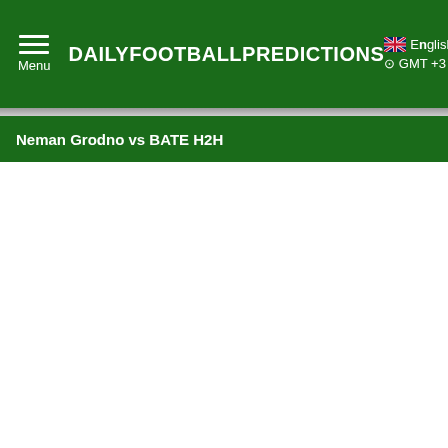DAILYFOOTBALLPREDICTIONS  English  GMT +3
Neman Grodno vs BATE H2H